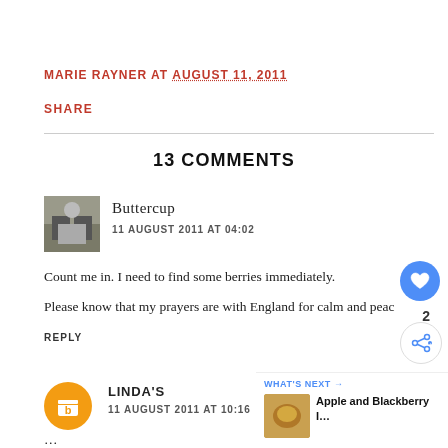MARIE RAYNER AT AUGUST 11, 2011
SHARE
13 COMMENTS
Buttercup
11 AUGUST 2011 AT 04:02
Count me in. I need to find some berries immediately.
Please know that my prayers are with England for calm and peac
REPLY
LINDA'S
11 AUGUST 2011 AT 10:16
...